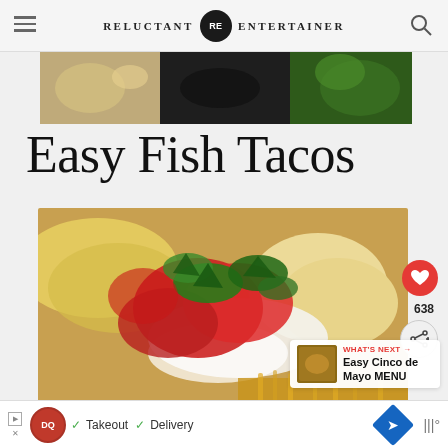RELUCTANT RE ENTERTAINER
[Figure (photo): Top strip food photo showing various dishes]
Easy Fish Tacos
[Figure (photo): Close-up photo of fish tacos with tomatoes, cilantro, cabbage, and white sauce on tortillas]
638
WHAT'S NEXT → Easy Cinco de Mayo MENU
Takeout  Delivery